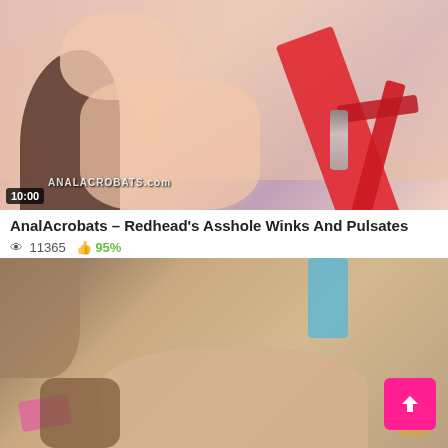[Figure (photo): Thumbnail image of a redhead woman with red lingerie, duration badge showing 10:00 and AnalAcrobats.com logo overlay]
AnalAcrobats – Redhead's Asshole Winks And Pulsates
👁 11365  👍 95%
[Figure (photo): Thumbnail image of explicit adult content, partially visible]